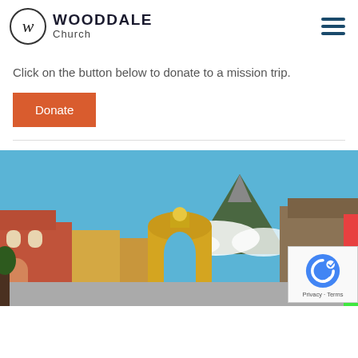WOODDALE Church
Click on the button below to donate to a mission trip.
Donate
[Figure (photo): Street scene in Antigua, Guatemala showing colorful colonial buildings, a yellow arch (Santa Catalina Arch), and a volcano in the background under blue sky with clouds.]